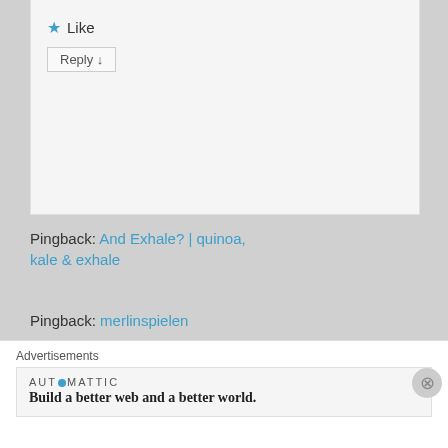★ Like
Reply ↓
Pingback: And Exhale? | quinoa, kale & exhale
Pingback: merlinspielen
[Figure (photo): Avatar image showing a red carnivorous plant with open mouth-like structure against green background]
And so the Fire Flies on 2012-12-14 at 09:51 said:
Advertisements
AUTOMATTIC
Build a better web and a better world.